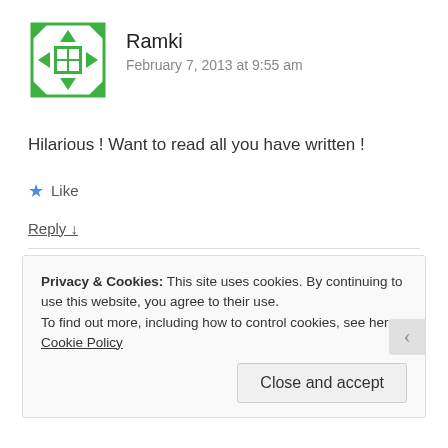[Figure (illustration): Green pixel-art style avatar icon with a grid/house motif, surrounded by decorative arrow elements]
Ramki
February 7, 2013 at 9:55 am
Hilarious ! Want to read all you have written !
★ Like
Reply ↓
Privacy & Cookies: This site uses cookies. By continuing to use this website, you agree to their use.
To find out more, including how to control cookies, see here: Cookie Policy
Close and accept